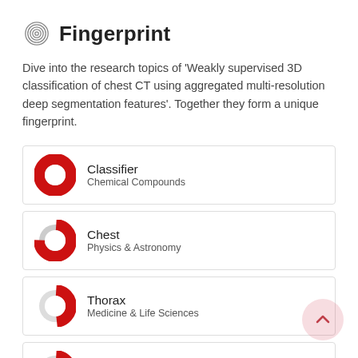Fingerprint
Dive into the research topics of 'Weakly supervised 3D classification of chest CT using aggregated multi-resolution deep segmentation features'. Together they form a unique fingerprint.
Classifier — Chemical Compounds
Chest — Physics & Astronomy
Thorax — Medicine & Life Sciences
Pipeline — Chemical Compounds